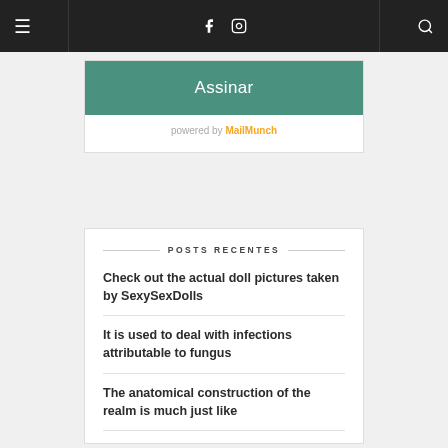☰  f  ⬛  🔍
Assinar
powered by MailMunch
POSTS RECENTES
Check out the actual doll pictures taken by SexySexDolls
It is used to deal with infections attributable to fungus
The anatomical construction of the realm is much just like
Grapefruit juice can additionally be a potent CYP3A4 inhibitor